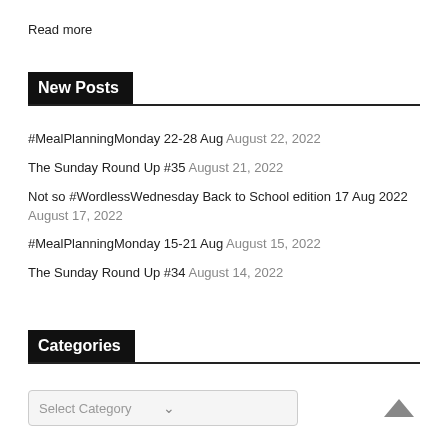Read more
New Posts
#MealPlanningMonday 22-28 Aug August 22, 2022
The Sunday Round Up #35 August 21, 2022
Not so #WordlessWednesday Back to School edition 17 Aug 2022 August 17, 2022
#MealPlanningMonday 15-21 Aug August 15, 2022
The Sunday Round Up #34 August 14, 2022
Categories
Select Category